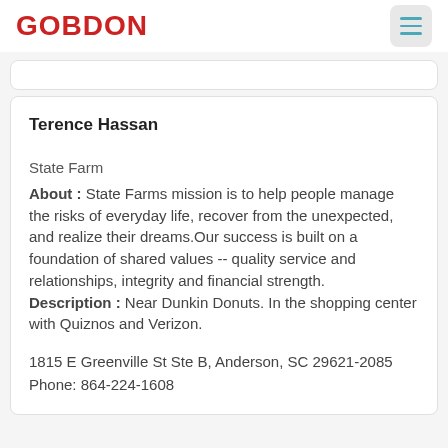GOBDON
Terence Hassan
State Farm
About : State Farms mission is to help people manage the risks of everyday life, recover from the unexpected, and realize their dreams.Our success is built on a foundation of shared values -- quality service and relationships, integrity and financial strength.
Description : Near Dunkin Donuts. In the shopping center with Quiznos and Verizon.

1815 E Greenville St Ste B, Anderson, SC 29621-2085
Phone: 864-224-1608